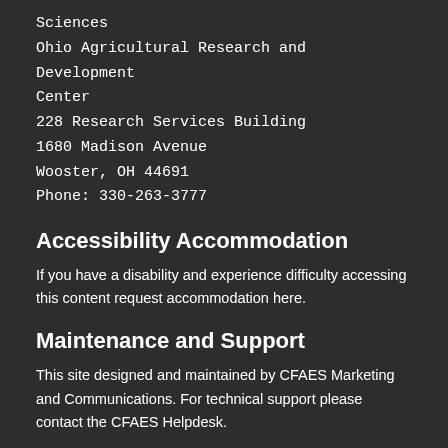Sciences
Ohio Agricultural Research and Development Center
228 Research Services Building
1680 Madison Avenue
Wooster, OH 44691
Phone: 330-263-3777
Accessibility Accommodation
If you have a disability and experience difficulty accessing this content request accommodation here.
Maintenance and Support
This site designed and maintained by CFAES Marketing and Communications. For technical support please contact the CFAES Helpdesk.